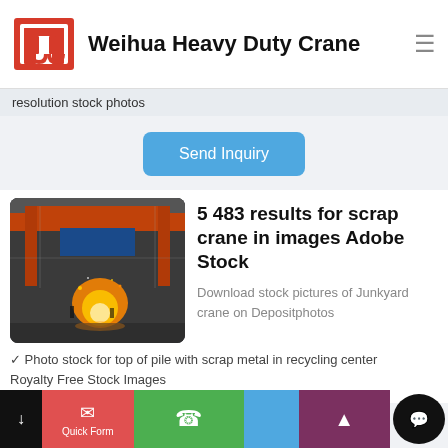[Figure (logo): Weihua Heavy Duty Crane red logo icon]
Weihua Heavy Duty Crane
resolution stock photos
Send Inquiry
[Figure (photo): Industrial scrap crane in factory with fire/sparks]
5 483 results for scrap crane in images Adobe Stock
Download stock pictures of Junkyard crane on Depositphotos
✓ Photo stock for top of pile with scrap metal in recycling center
Royalty Free Stock Images
Quick Form | WhatsApp | Up arrow | Chat